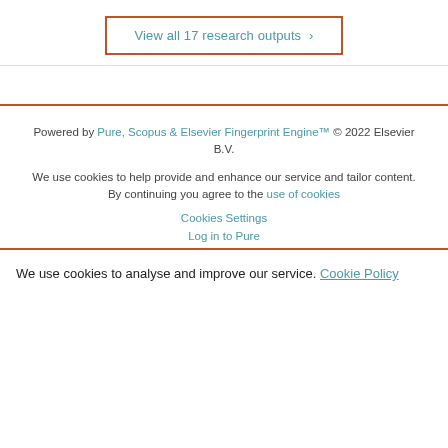View all 17 research outputs
Powered by Pure, Scopus & Elsevier Fingerprint Engine™ © 2022 Elsevier B.V.
We use cookies to help provide and enhance our service and tailor content. By continuing you agree to the use of cookies
Cookies Settings
Log in to Pure
We use cookies to analyse and improve our service. Cookie Policy